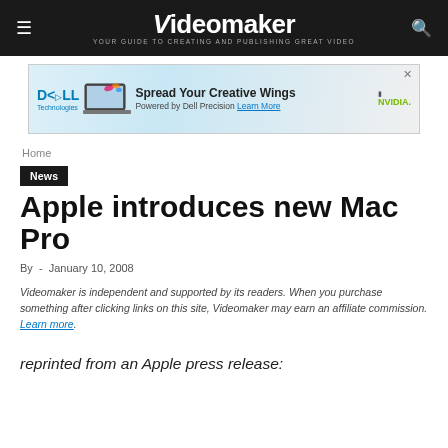Videomaker — YOUR GUIDE TO CREATING AND PUBLISHING GREAT VIDEO
[Figure (screenshot): Dell Technologies advertisement banner: laptop with colorful butterflies, text 'Spread Your Creative Wings Powered by Dell Precision Learn More', NVIDIA logo]
Home
News
Apple introduces new Mac Pro
By  -  January 10, 2008
Videomaker is independent and supported by its readers. When you purchase something after clicking links on this site, Videomaker may earn an affiliate commission. Learn more.
reprinted from an Apple press release: